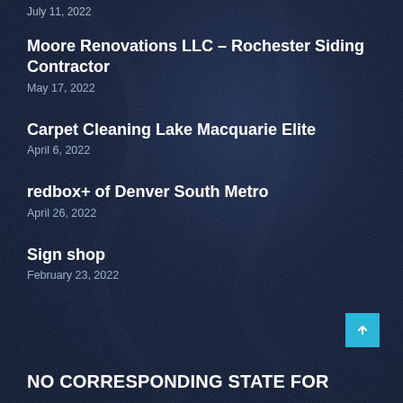July 11, 2022
Moore Renovations LLC – Rochester Siding Contractor
May 17, 2022
Carpet Cleaning Lake Macquarie Elite
April 6, 2022
redbox+ of Denver South Metro
April 26, 2022
Sign shop
February 23, 2022
NO CORRESPONDING STATE FOR